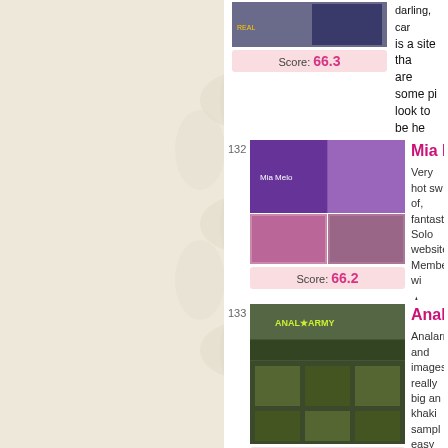Score: 66.3
★ Read K...
Niches: Am...
132
Mia Melo...
Very hot sw... of, fantastic... Solo website... Members wi...
Score: 66.2
★ Read M...
Niches: Am...
133
Anal Arr...
Analarmy.co... and images... really big an... khaki sampl... easy to use.
Score: 66.0
★ Read A...